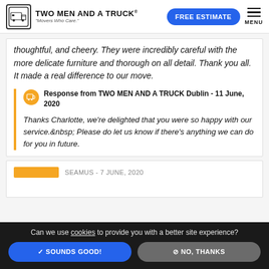TWO MEN AND A TRUCK - "Movers Who Care." | FREE ESTIMATE | MENU
thoughtful, and cheery. They were incredibly careful with the more delicate furniture and thorough on all detail. Thank you all. It made a real difference to our move.
Response from TWO MEN AND A TRUCK Dublin - 11 June, 2020

Thanks Charlotte, we're delighted that you were so happy with our service.&nbsp; Please do let us know if there's anything we can do for you in future.
SEAMUS - 7 JUNE, 2020
Can we use cookies to provide you with a better site experience?
✓ SOUNDS GOOD!
⊘ NO, THANKS